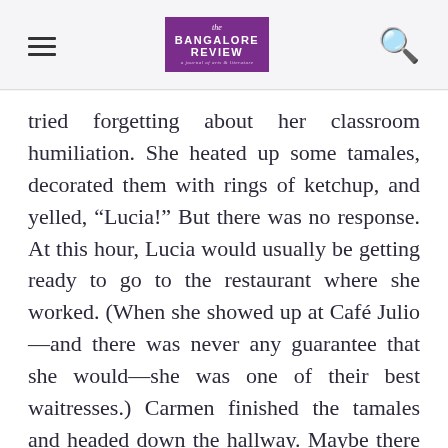The Bangalore Review
tried forgetting about her classroom humiliation. She heated up some tamales, decorated them with rings of ketchup, and yelled, “Lucia!” But there was no response. At this hour, Lucia would usually be getting ready to go to the restaurant where she worked. (When she showed up at Café Julio—and there was never any guarantee that she would—she was one of their best waitresses.) Carmen finished the tamales and headed down the hallway. Maybe there was some news about her mother. When she got to Lucia’s bedroom door, she peeked through the keyhole. She could see Lucia passed out